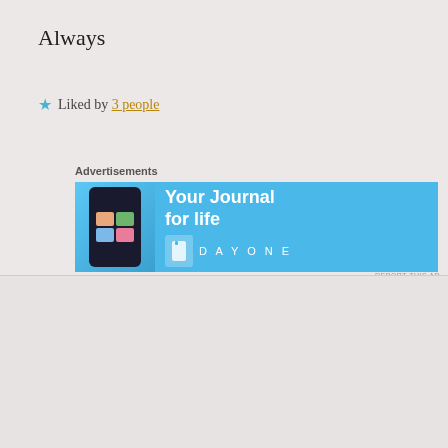Always
★ Liked by 3 people
Advertisements
[Figure (illustration): Day One journal app advertisement banner in light blue, showing a phone with photos and text 'Your Journal for life' with the Day One logo]
[Figure (photo): Circular avatar photo of a woman with brown hair]
katelon
November 25, 2019 at 12:47 a
Advertisements
[Figure (illustration): DuckDuckGo advertisement banner with orange background on left side reading 'Search, browse, and email with more privacy. All in One Free App' and DuckDuckGo logo on dark right side]